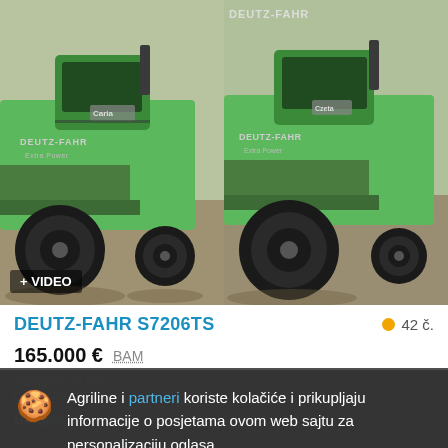[Figure (photo): Two green Deutz-Fahr combine harvesters shown side by side. Left image has a '+VIDEO' badge at bottom left. Right image shows DEUTZ-FAHR branding at top.]
DEUTZ-FAHR S7206TS
42 č.
165.000 € BAM
Kombajn za žito
Agriline i partneri koriste kolačiće i prikupljaju informacije o posjetama ovom web sajtu za personalizaciju oglasa
Detalji
Slažem se i zatvori